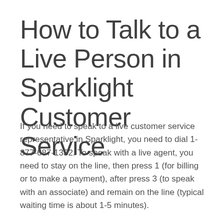How to Talk to a Live Person in Sparklight Customer Service
If you need to speak to a live customer service representative in Sparklight, you need to dial 1-877-687-1332. To speak with a live agent, you need to stay on the line, then press 1 (for billing or to make a payment), after press 3 (to speak with an associate) and remain on the line (typical waiting time is about 1-5 minutes).